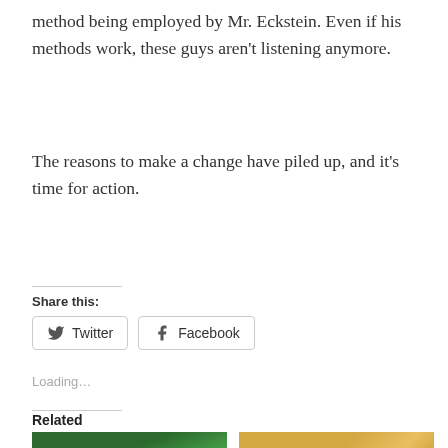method being employed by Mr. Eckstein. Even if his methods work, these guys aren't listening anymore.
The reasons to make a change have piled up, and it's time for action.
Share this:
Twitter
Facebook
Loading...
Related
[Figure (photo): Aerial view of a baseball stadium with green field and crowd]
[Figure (photo): Two men posing in front of a yellow background with Pittsburgh Pirates logo]